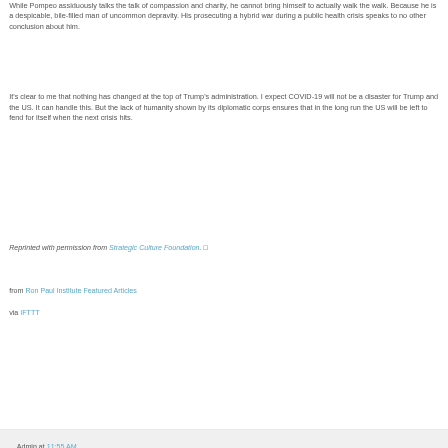While Pompeo assiduously talks the talk of compassion and charity, he cannot bring himself to actually walk the walk. Because he is a despicable, bile-filled man of uncommon depravity. His prosecuting a hybrid war during a public health crisis speaks to no other conclusion about him.
It's clear to me that nothing has changed at the top of Trump's administration. I expect COVID-19 will not be a disaster for Trump and the US. It can handle this. But the lack of humanity shown by its diplomatic corps ensures that in the long run the US will be left to fend for itself when the next crisis hits.
Reprinted with permission from Strategic Culture Foundation.
from Ron Paul Institute Featured Articles
via IFTTT
Admin at 11:55 AM